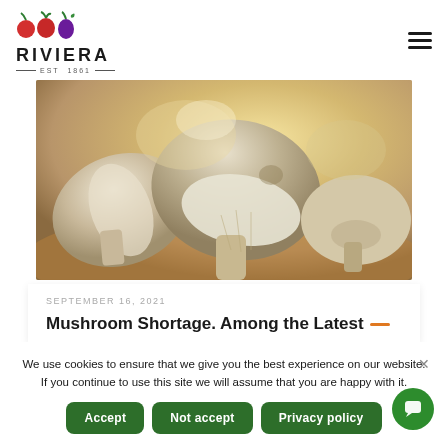RIVIERA EST 1861
[Figure (photo): Close-up photo of fresh sliced and whole button mushrooms on a wooden cutting board with warm golden background lighting]
SEPTEMBER 16, 2021
Mushroom Shortage. Among the Latest
We use cookies to ensure that we give you the best experience on our website. If you continue to use this site we will assume that you are happy with it.
Accept | Not accept | Privacy policy